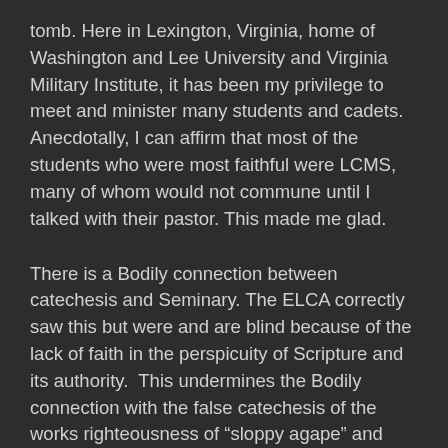tomb. Here in Lexington, Virginia, home of Washington and Lee University and Virginia Military Institute, it has been my privilege to meet and minister many students and cadets.  Anecdotally, I can affirm that most of the students who were most faithful were LCMS, many of whom would not commune until I talked with their pastor. This made me glad.
There is a Bodily connection between catechesis and Seminary. The ELCA correctly saw this but were and are blind because of the lack of faith in the perspicuity of Scripture and its authority.  This undermines the Bodily connection with the false catechesis of the works righteousness of “sloppy agape” and “social justice”.
The LCMS has many of the same concerns about its